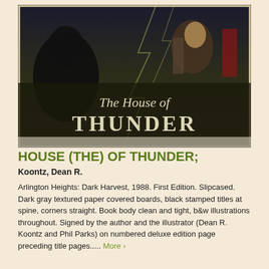[Figure (photo): Photo of a book slipcase showing the cover art for 'The House of Thunder' by Dean R. Koontz. Dark fantasy cover art with figures and lightning effects. White stylized text reads 'The House of THUNDER'.]
HOUSE (THE) OF THUNDER;
Koontz, Dean R.
Arlington Heights: Dark Harvest, 1988. First Edition. Slipcased. Dark gray textured paper covered boards, black stamped titles at spine, corners straight. Book body clean and tight, b&w illustrations throughout. Signed by the author and the illustrator (Dean R. Koontz and Phil Parks) on numbered deluxe edition page preceding title pages..... More ›